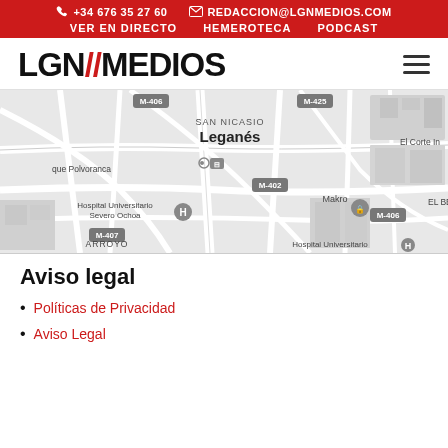+34 676 35 27 60  REDACCION@LGNMEDIOS.COM  VER EN DIRECTO  HEMEROTECA  PODCAST
[Figure (logo): LGN MEDIOS logo with red double-slash between LGN and MEDIOS, hamburger menu icon on right]
[Figure (map): Google Maps view showing Leganés area with landmarks: SAN NICASIO, M-425, M-406, M-402, M-407, Hospital Universitario Severo Ochoa, Makro, El Corte Inglés, EL BER, que Polvoranca, ARROYO, Hospital Universitario]
Aviso legal
Políticas de Privacidad
Aviso Legal